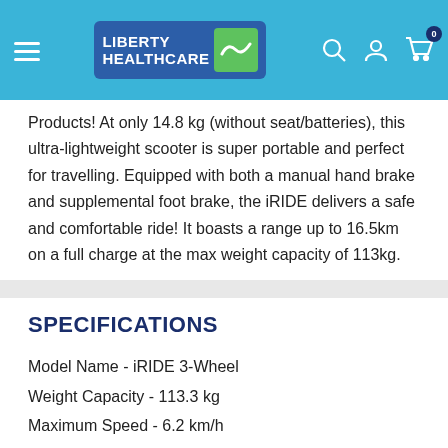Liberty Healthcare — header navigation with logo, search, account, and cart icons
Products! At only 14.8 kg (without seat/batteries), this ultra-lightweight scooter is super portable and perfect for travelling. Equipped with both a manual hand brake and supplemental foot brake, the iRIDE delivers a safe and comfortable ride! It boasts a range up to 16.5km on a full charge at the max weight capacity of 113kg.
SPECIFICATIONS
Model Name - iRIDE 3-Wheel
Weight Capacity - 113.3 kg
Maximum Speed - 6.2 km/h
Ground Clearance - 3.2 cm at rear disc